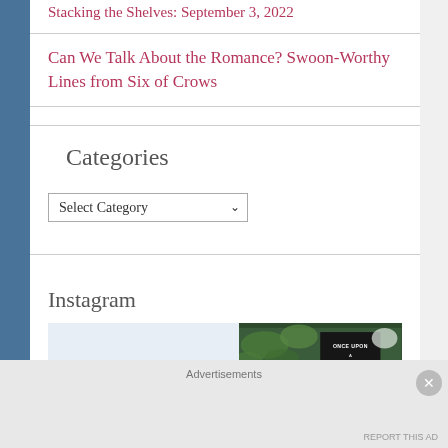Stacking the Shelves: September 3, 2022
Can We Talk About the Romance? Swoon-Worthy Lines from Six of Crows
Categories
Select Category
Instagram
[Figure (photo): Instagram photo showing a book 'Once Upon a Broken' with green leaves/plants]
Advertisements